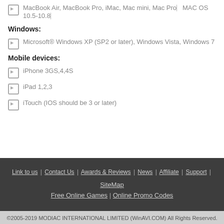MacBook Air, MacBook Pro, iMac, Mac mini, Mac Pro—MAC OS 10.5-10.8—
Windows:
Microsoft® Windows XP (SP2 or later), Windows Vista, Windows 7
Mobile devices:
iPhone 3GS,4,4S
iPad 1,2,3
iTouch (IOS should be 3 or later)
Link to us | Contact Us | Awards & Reviews | News | Affiliate | Support | SiteMap
Free Online Games | Online Promo Codes
©2005-2019 MODIAC INTERNATIONAL LIMITED (WinAVI.COM) All Rights Reserved.